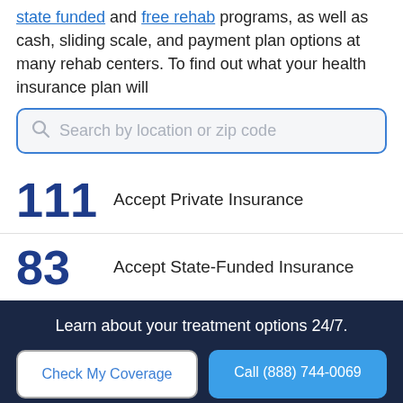state funded and free rehab programs, as well as cash, sliding scale, and payment plan options at many rehab centers. To find out what your health insurance plan will
Search by location or zip code
111 Accept Private Insurance
83 Accept State-Funded Insurance
Learn about your treatment options 24/7.
Check My Coverage
Call (888) 744-0069
Helpline Information